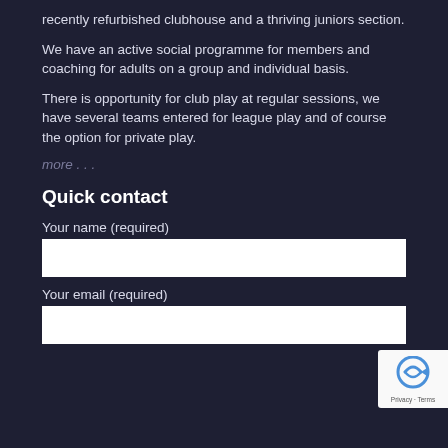recently refurbished clubhouse and a thriving juniors section.
We have an active social programme for members and coaching for adults on a group and individual basis.
There is opportunity for club play at regular sessions, we have several teams entered for league play and of course the option for private play.
more . . .
Quick contact
Your name (required)
Your email (required)